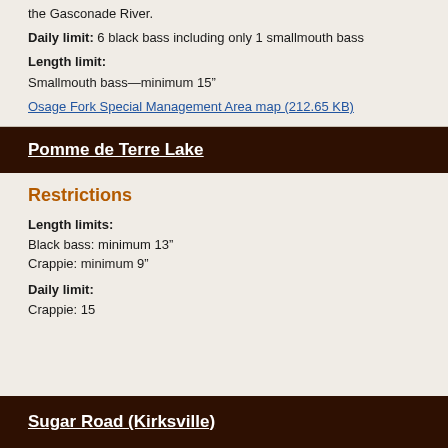the Gasconade River.
Daily limit: 6 black bass including only 1 smallmouth bass
Length limit: Smallmouth bass—minimum 15"
Osage Fork Special Management Area map (212.65 KB)
Pomme de Terre Lake
Restrictions
Length limits: Black bass: minimum 13" Crappie: minimum 9"
Daily limit: Crappie: 15
Sugar Road (Kirksville)